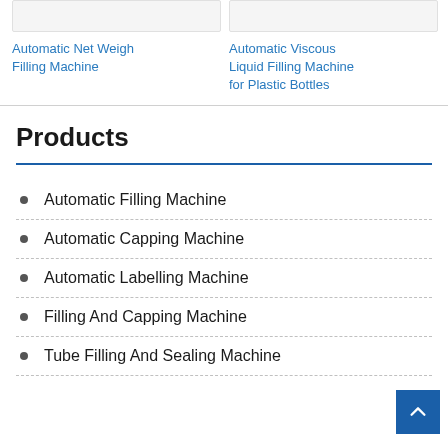Automatic Net Weigh Filling Machine
Automatic Viscous Liquid Filling Machine for Plastic Bottles
Products
Automatic Filling Machine
Automatic Capping Machine
Automatic Labelling Machine
Filling And Capping Machine
Tube Filling And Sealing Machine